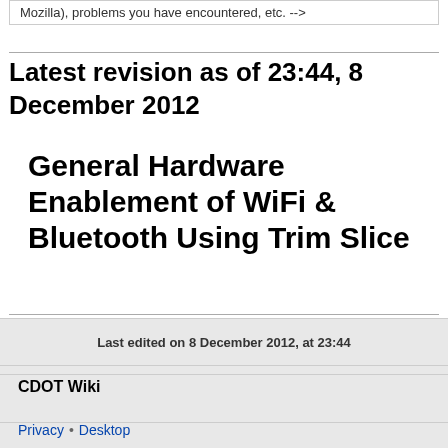Mozilla), problems you have encountered, etc. -->
Latest revision as of 23:44, 8 December 2012
General Hardware Enablement of WiFi & Bluetooth Using Trim Slice
Last edited on 8 December 2012, at 23:44
CDOT Wiki
Privacy • Desktop